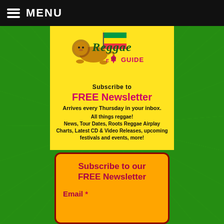MENU
[Figure (logo): Reggae E-Guide logo with lion of Judah holding Ethiopian flag, Star of David, reggae-style lettering in green and magenta]
Subscribe to
FREE Newsletter
Arrives every Thursday in your inbox.
All things reggae! News, Tour Dates, Roots Reggae Airplay Charts, Latest CD & Video Releases, upcoming festivals and events, more!
Subscribe to our FREE Newsletter
Email *